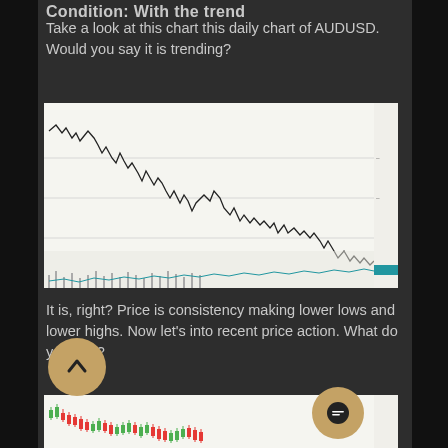Condition: With the trend
Take a look at this chart this daily chart of AUDUSD. Would you say it is trending?
[Figure (continuous-plot): Daily chart of AUDUSD showing a downtrend with lower highs and lower lows, horizontal support/resistance lines, and volume/indicator at the bottom. Price action descends from upper left to lower right.]
It is, right? Price is consistency making lower lows and lower highs. Now let's into recent price action. What do you see?
[Figure (continuous-plot): Close-up candlestick chart of AUDUSD showing recent price action with red and green candles, depicting continued downward movement.]